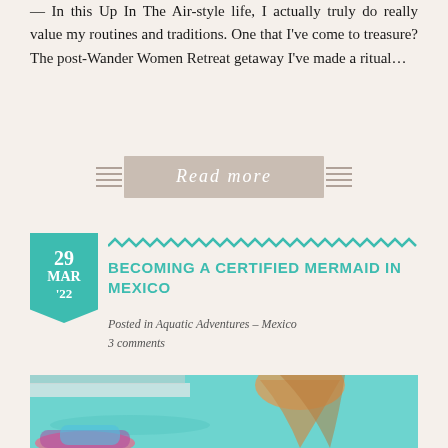— In this Up In The Air-style life, I actually truly do really value my routines and traditions. One that I've come to treasure? The post-Wander Women Retreat getaway I've made a ritual…
[Figure (other): Read more banner/button with decorative ribbon style, light taupe/beige background with horizontal lines on sides and italic white text 'Read more']
[Figure (infographic): Teal bookmark-shaped date tag showing '29 MAR '22' with zigzag decorative border line to the right]
BECOMING A CERTIFIED MERMAID IN MEXICO
Posted in Aquatic Adventures – Mexico
3 comments
[Figure (photo): Photo of a person with blonde hair at a pool with turquoise water, wearing a colorful mermaid tail/swimwear, viewed from behind]